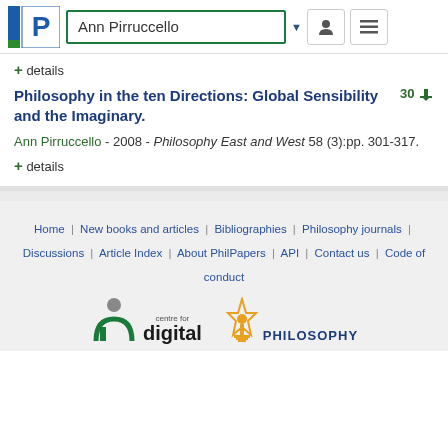Ann Pirruccello
+ details
Philosophy in the ten Directions: Global Sensibility and the Imaginary.
Ann Pirruccello - 2008 - Philosophy East and West 58 (3):pp. 301-317.
+ details
Home | New books and articles | Bibliographies | Philosophy journals | Discussions | Article Index | About PhilPapers | API | Contact us | Code of conduct